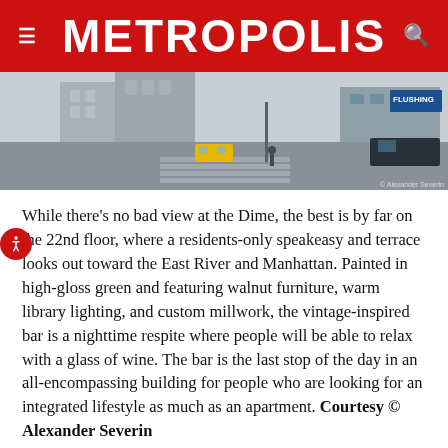METROPOLIS
[Figure (photo): Street-level photograph of an urban intersection with buildings, parked cars, a pedestrian crossing, and a yellow taxi cab visible. The scene appears to be in a city, likely New York. Photo credit: Alexander Severin.]
While there's no bad view at the Dime, the best is by far on the 22nd floor, where a residents-only speakeasy and terrace looks out toward the East River and Manhattan. Painted in high-gloss green and featuring walnut furniture, warm library lighting, and custom millwork, the vintage-inspired bar is a nighttime respite where people will be able to relax with a glass of wine. The bar is the last stop of the day in an all-encompassing building for people who are looking for an integrated lifestyle as much as an apartment. Courtesy © Alexander Severin
The Dime is a new visual landmark for the